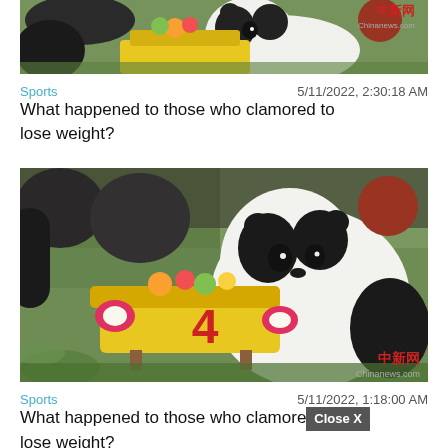[Figure (photo): Panda with food tray, Chinanews.com watermark, top article image]
Sports   5/11/2022, 2:30:18 AM
What happened to those who clamored to lose weight?
[Figure (photo): Panda with birthday cake number 4, Chinanews.com watermark, second article image]
Sports   5/11/2022, 1:18:00 AM
What happened to those who clamored to lose weight?